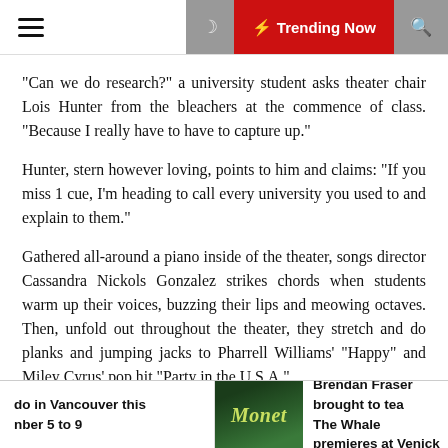Trending Now
“Can we do research?” a university student asks theater chair Lois Hunter from the bleachers at the commence of class. “Because I really have to have to capture up.”
Hunter, stern however loving, points to him and claims: “If you miss 1 cue, I’m heading to call every university you used to and explain to them.”
Gathered all-around a piano inside of the theater, songs director Cassandra Nickols Gonzalez strikes chords when students warm up their voices, buzzing their lips and meowing octaves. Then, unfold out throughout the theater, they stretch and do planks and jumping jacks to Pharrell Williams’ “Happy” and Miley Cyrus’ pop hit “Party in the U.S.A.”
do in Vancouver this nber 5 to 9 | Monet | Brendan Fraser brought to tea The Whale premieres at Venick